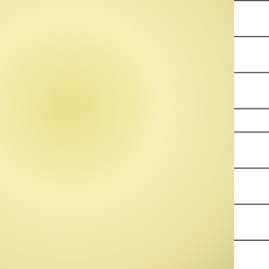| Order | Common Name | German Name (partial) |
| --- | --- | --- |
| Strigiformes | Long-eared Owl | Waldoh… |
| Strigiformes | Short-eared Owl | Sumpfoh… |
| Strigiformes | Northern Hawk Owl | Sperber… |
| Strigiformes | Tawny Owl | Waldkau… |
| Caprimulgiformes | Eurasian Nightjar | Ziegenn… |
| Apodiformes | Common Swift | Mauerse… |
| Coraciiformes | Common Kingfisher | Eisvoge… |
| Coraciiformes | European Bee-eater | Bienenfr… |
| Coraciiformes | European Roller | Blaurach… |
| Coraciiformes | Eurasian Hoopoe | Wiedeho… |
| Piciformes | Eurasian Wryneck | Wendeh… |
| Picif… | Gray-faced … | … |